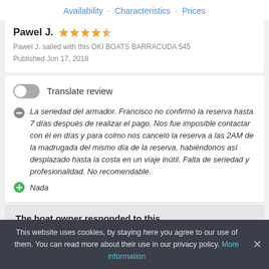Availability · Characteristics · Prices
Pawel J. ★★★★☆
Pawel J. sailed with this OKI BOATS BARRACUDA 545
Published Jun 17, 2018
Translate review
La seriedad del armador. Francisco no confirmó la reserva hasta 7 días después de realizar el pago. Nos fue imposible contactar con él en días y para colmo nos canceló la reserva a las 2AM de la madrugada del mismo día de la reserva, habiéndonos así desplazado hasta la costa en un viaje inútil. Falta de seriedad y profesionalidad. No recomendable.
Nada
The boat owner responded to this comment:
This website uses cookies, by staying here you agree to our use of them. You can read more about their use in our privacy policy. More information